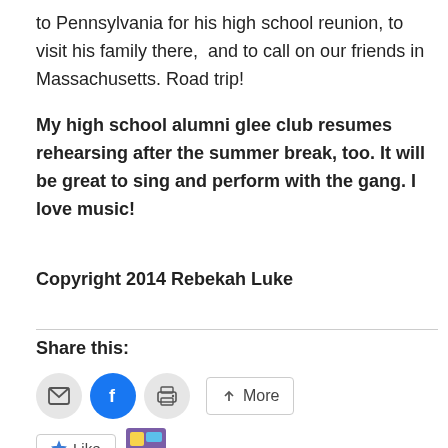to Pennsylvania for his high school reunion, to visit his family there,  and to call on our friends in Massachusetts. Road trip!
My high school alumni glee club resumes rehearsing after the summer break, too. It will be great to sing and perform with the gang. I love music!
Copyright 2014 Rebekah Luke
Share this:
[Figure (infographic): Social share buttons: email (envelope icon, grey circle), Facebook (f icon, blue circle), print (printer icon, grey circle), and a More button with a share icon.]
[Figure (infographic): WordPress Like button with a star icon labeled Like, followed by a small pixelated blogger avatar image.]
One blogger likes this.